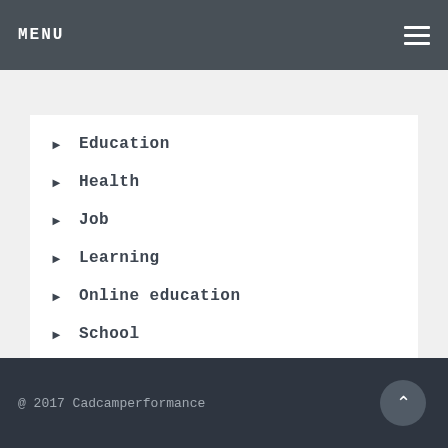MENU
Education
Health
Job
Learning
Online education
School
Uncategorized
Writting
@ 2017 Cadcamperformance